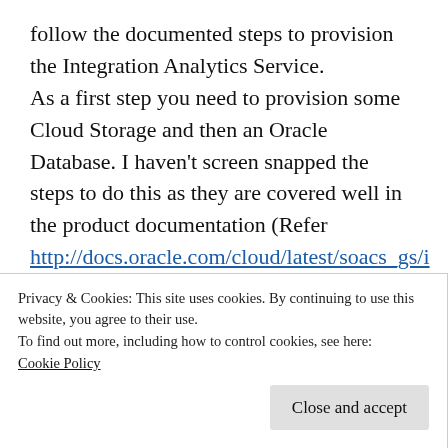follow the documented steps to provision the Integration Analytics Service. As a first step you need to provision some Cloud Storage and then an Oracle Database. I haven't screen snapped the steps to do this as they are covered well in the product documentation (Refer http://docs.oracle.com/cloud/latest/soacs_gs/index_analytics.html ) and the following solutionsanz blog posts already detail the flow. https://solutionsanz.blog/2016/02/28/how-
Privacy & Cookies: This site uses cookies. By continuing to use this website, you agree to their use.
To find out more, including how to control cookies, see here:
Cookie Policy
Close and accept